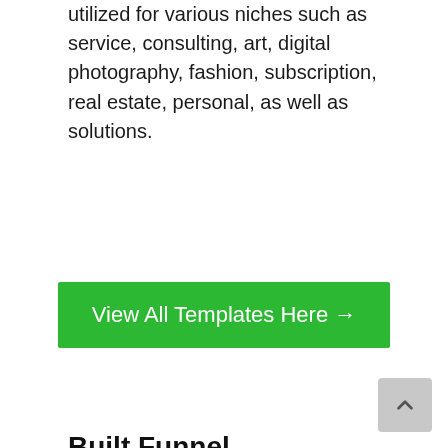utilized for various niches such as service, consulting, art, digital photography, fashion, subscription, real estate, personal, as well as solutions.
[Figure (other): Green button with white text reading 'View All Templates Here →']
Built Funnel
Simvoly has a sales funnel builder device that permits individuals can develop and create funnels from the ground up. It also includes a substantial collection of premade funnels. You